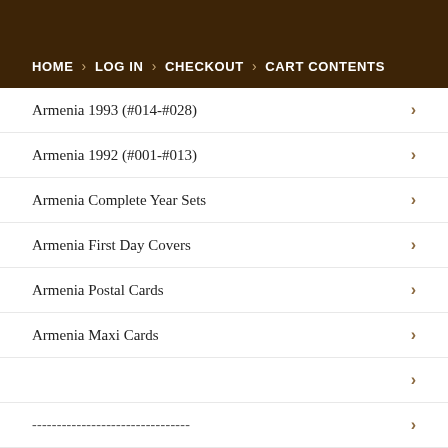HOME > LOG IN > CHECKOUT > CART CONTENTS
Armenia 1993 (#014-#028)
Armenia 1992 (#001-#013)
Armenia Complete Year Sets
Armenia First Day Covers
Armenia Postal Cards
Armenia Maxi Cards
--------------------------------
Karabakh 2019 (#188---)
Karabakh 2018 (#158-187)
Karabakh 2017 (#132-157)
Karabakh 2016 (#108-#131)